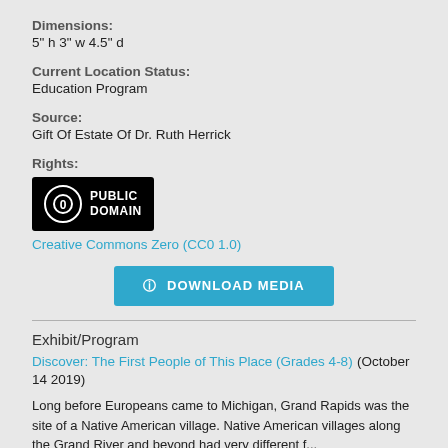Dimensions:
5" h 3" w 4.5" d
Current Location Status:
Education Program
Source:
Gift Of Estate Of Dr. Ruth Herrick
Rights:
[Figure (logo): Creative Commons Public Domain badge — black rectangle with circle-zero icon and text PUBLIC DOMAIN]
Creative Commons Zero (CC0 1.0)
⊙ DOWNLOAD MEDIA
Exhibit/Program
Discover: The First People of This Place (Grades 4-8) (October 14 2019)
Long before Europeans came to Michigan, Grand Rapids was the site of a Native American village. Native American villages along the Grand River and beyond had very different f...